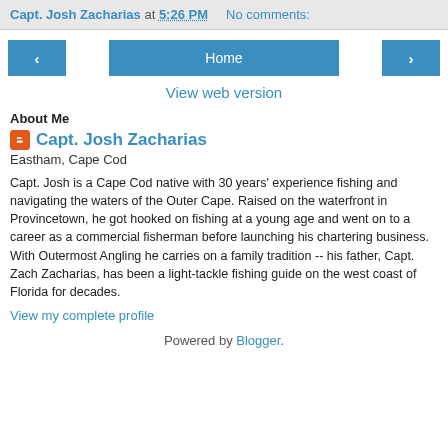Capt. Josh Zacharias at 5:26 PM   No comments:
[Figure (screenshot): Navigation bar with left arrow button, Home button, and right arrow button]
View web version
About Me
Capt. Josh Zacharias
Eastham, Cape Cod
Capt. Josh is a Cape Cod native with 30 years' experience fishing and navigating the waters of the Outer Cape. Raised on the waterfront in Provincetown, he got hooked on fishing at a young age and went on to a career as a commercial fisherman before launching his chartering business. With Outermost Angling he carries on a family tradition -- his father, Capt. Zach Zacharias, has been a light-tackle fishing guide on the west coast of Florida for decades.
View my complete profile
Powered by Blogger.